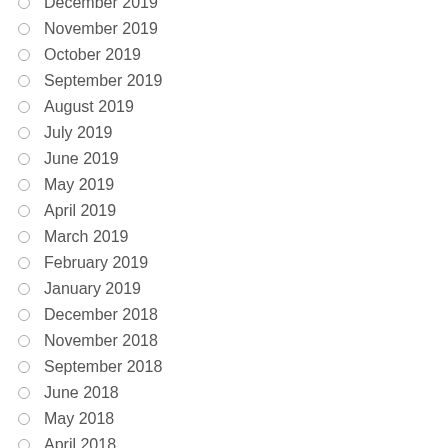December 2019
November 2019
October 2019
September 2019
August 2019
July 2019
June 2019
May 2019
April 2019
March 2019
February 2019
January 2019
December 2018
November 2018
September 2018
June 2018
May 2018
April 2018
March 2018